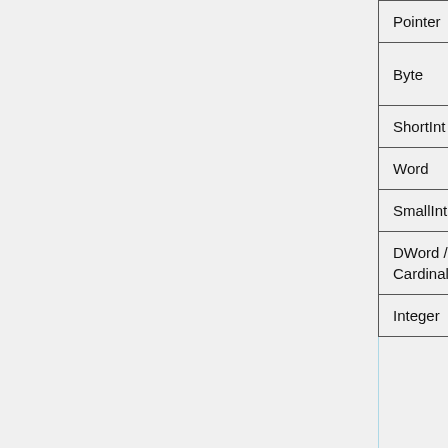| Pascal/Delphi Type | C/C++ Type | Description |
| --- | --- | --- |
| Pointer | void* |  |
| Byte | ubyte | 8 bit unsigned integer. note the ambiguity when coming from Pascal |
| ShortInt | byte | 8 bit signed integer |
| Word | uint16 | 16 bit unsigned integer |
| SmallInt | int16 | 16 bit signed integer |
| DWord / Cardinal | uint | 32 bit unsigned integer |
| Integer | int | 32 bit signed integer |